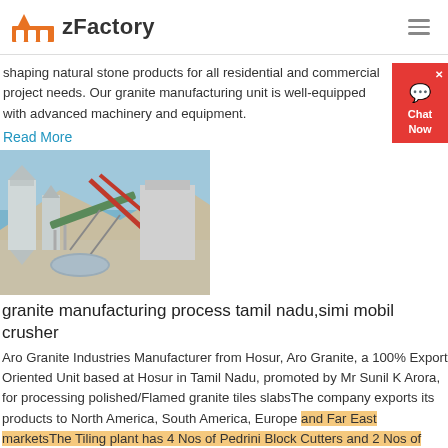zFactory
shaping natural stone products for all residential and commercial project needs. Our granite manufacturing unit is well-equipped with advanced machinery and equipment.
Read More
[Figure (photo): Industrial granite/stone processing facility with conveyor belts, silos, and equipment under a blue sky]
granite manufacturing process tamil nadu,simi mobil crusher
Aro Granite Industries Manufacturer from Hosur, Aro Granite, a 100% Export Oriented Unit based at Hosur in Tamil Nadu, promoted by Mr Sunil K Arora, for processing polished/Flamed granite tiles slabsThe company exports its products to North America, South America, Europe and Far East marketsThe Tiling plant has 4 Nos of Pedrini Block Cutters and 2 Nos of Pedrini Polishing Machines with an ...
Read More